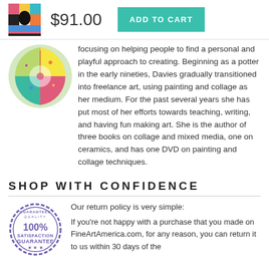[Figure (photo): Small product thumbnail image showing colorful abstract art]
$91.00
ADD TO CART
[Figure (photo): Circular artist portrait photo showing colorful circular artwork]
focusing on helping people to find a personal and playful approach to creating. Beginning as a potter in the early nineties, Davies gradually transitioned into freelance art, using painting and collage as her medium. For the past several years she has put most of her efforts towards teaching, writing, and having fun making art. She is the author of three books on collage and mixed media, one on ceramics, and has one DVD on painting and collage techniques.
SHOP WITH CONFIDENCE
[Figure (illustration): 100% Satisfaction Guarantee circular stamp/seal in blue/purple]
Our return policy is very simple:
If you're not happy with a purchase that you made on FineArtAmerica.com, for any reason, you can return it to us within 30 days of the